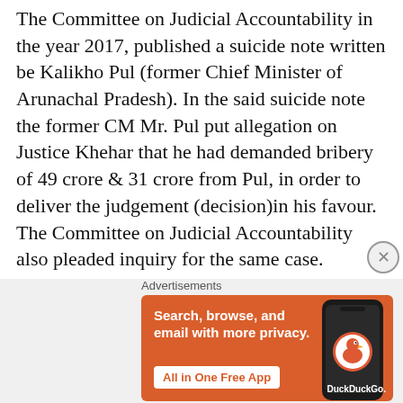The Committee on Judicial Accountability in the year 2017, published a suicide note written be Kalikho Pul (former Chief Minister of Arunachal Pradesh). In the said suicide note the former CM Mr. Pul put allegation on Justice Khehar that he had demanded bribery of 49 crore & 31 crore from Pul, in order to deliver the judgement (decision)in his favour. The Committee on Judicial Accountability also pleaded inquiry for the same case. Further, the widow of Kalikho Pul also put sensational allegation against Justice Khehar in the hon'ble
[Figure (infographic): DuckDuckGo advertisement banner with orange background. Text reads: 'Search, browse, and email with more privacy. All in One Free App'. Shows a smartphone with DuckDuckGo logo.]